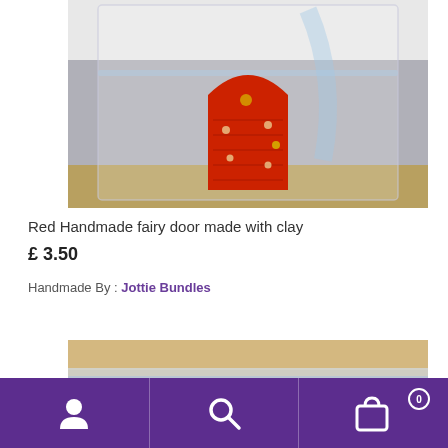[Figure (photo): A red handmade clay fairy door in an arch shape, placed inside a clear plastic zip bag, set against a grey/white background.]
Red Handmade fairy door made with clay
£ 3.50
Handmade By : Jottie Bundles
[Figure (photo): Close-up of what appears to be fairy dust or sand in a clear zip-lock plastic bag, beige/sandy color.]
Navigation bar with user icon, search icon, and shopping bag icon with badge 0